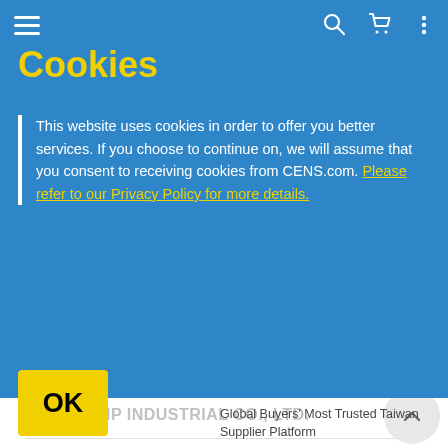Cookies
This website uses cookies in order to offer you better services. If you choose to continue on, we will assume that you consent to receiving cookies from CENS.com. Please refer to our Privacy Policy for more details.
OK
features of pumps, DC pumps...
Sep 11, 2012
Established in 1981, C-AO Pump Industrial Co., Ltd. has been renowned as one of the most professional manufacturers of pumps in Taiwan. The company...
C-AO PUMP INDUSTRIAL CO., LTD.
Global Buyers' Most Trusted Taiwan Supplier Platform